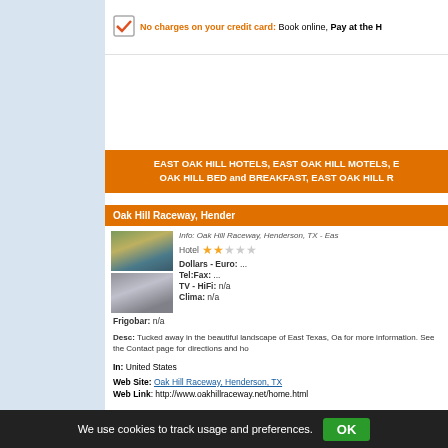No charges on your credit card: Book online, Pay at the H
EAST OAK HILL HOTELS, EAST OAK HILL MOTELS, E OAK HILL BED and BREAKFAST, EAST OAK HILL R
Oak Hill Raceway, Hender
[Figure (photo): Hotel exterior photo 1 - building with palm trees]
[Figure (photo): Hotel exterior photo 2 - white building near water]
Info: Oak Hill Raceway, Henderson, TX - Eas
Hotel ★★☆☆☆
Dollars - Euro: ...
Tel:Fax: ...
TV - HiFi: n/a
Clima: n/a
Frigobar: n/a
Desc: Tucked away in the beautiful landscape of East Texas, Oa for more information. See the Contact page for directions and ho
In: United States
Web Site: Oak Hill Raceway, Henderson, TX
Web Link: http://www.oakhillraceway.net/home.html
We use cookies to track usage and preferences.  OK